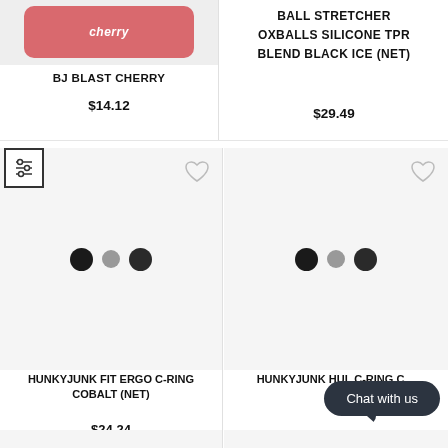[Figure (photo): Product image of BJ Blast Cherry with pink/red rounded rectangle packaging label showing 'cherry' text]
BJ BLAST CHERRY
$14.12
[Figure (photo): Ball Stretcher Oxballs product - top portion of card visible]
BALL STRETCHER OXBALLS SILICONE TPR BLEND BLACK ICE (NET)
$29.49
[Figure (photo): Product image placeholder for Hunkyjunk Fit Ergo C-Ring Cobalt showing three dots (color swatches)]
HUNKYJUNK FIT ERGO C-RING COBALT (NET)
$24.24
[Figure (photo): Product image placeholder for Hunkyjunk Hul C-Ring showing three dots (color swatches) with Chat with us overlay]
HUNKYJUNK HUL C-RING C…
Chat with us